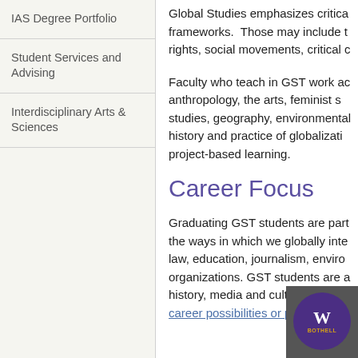IAS Degree Portfolio
Student Services and Advising
Interdisciplinary Arts & Sciences
Global Studies emphasizes critical frameworks. Those may include rights, social movements, critical...
Faculty who teach in GST work across anthropology, the arts, feminist studies, geography, environmental history and practice of globalization, project-based learning.
Career Focus
Graduating GST students are part of the ways in which we globally interact: law, education, journalism, environmental organizations. GST students are also history, media and cultural studies...
career possibilities or pursuing graduate...
[Figure (logo): University of Washington Bothell logo — purple circular logo with W and BOTHELL text in gold]